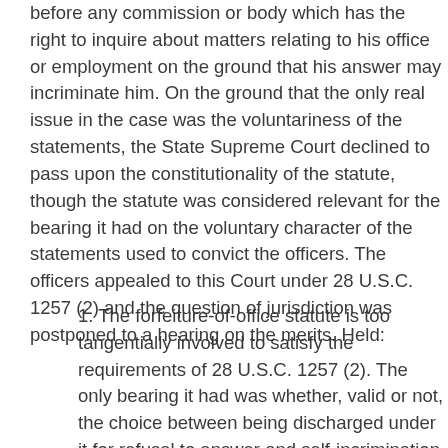before any commission or body which has the right to inquire about matters relating to his office or employment on the ground that his answer may incriminate him. On the ground that the only real issue in the case was the voluntariness of the statements, the State Supreme Court declined to pass upon the constitutionality of the statute, though the statute was considered relevant for the bearing it had on the voluntary character of the statements used to convict the officers. The officers appealed to this Court under 28 U.S.C. 1257 (2) and the question of jurisdiction was postponed to a hearing on the merits. Held:
1. The forfeiture-of-office statute is too tangentially involved to satisfy the requirements of 28 U.S.C. 1257 (2). The only bearing it had was whether, valid or not, the choice between being discharged under it for refusal to answer and self-incrimination rendered the statements products of coercion. The appeal is dismissed, the papers are treated as a petition for certiorari, and certiorari is